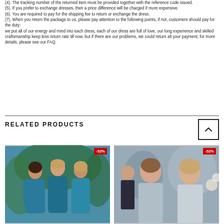(4). The tracking number of the returned item must be provided together with the reference code issued.
(5). If you prefer to exchange dresses, then a price difference will be charged if more expensive.
(6). You are required to pay for the shipping fee to return or exchange the dress.
(7). When you return the package to us, please pay attention to the following points, if not, customers should pay for the duty:
we put all of our energy and mind into each dress, each of our dress are full of love, our long experience and skilled craftsmanship keep less return rate till now, but if there are our problems, we could return all your payment, for more details, please see our FAQ.
RELATED PRODUCTS
[Figure (photo): Three women wearing teal/blue dresses outdoors with -52% discount badge]
[Figure (photo): Two women in formal attire at an event with -52% discount badge]